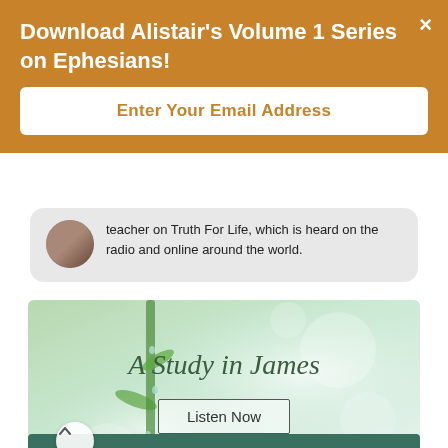Download Alistair's Volume 1 Series on Ephesians!
Enter Your Email Address
teacher on Truth For Life, which is heard on the radio and online around the world.
[Figure (illustration): Promotional banner image with bamboo and bokeh background, text 'A Study in James' and a 'Listen Now' button.]
A Study in James
Listen Now